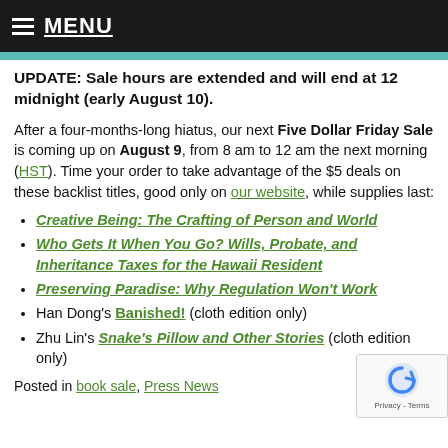MENU
UPDATE: Sale hours are extended and will end at 12 midnight (early August 10).
After a four-months-long hiatus, our next Five Dollar Friday Sale is coming up on August 9, from 8 am to 12 am the next morning (HST). Time your order to take advantage of the $5 deals on these backlist titles, good only on our website, while supplies last:
Creative Being: The Crafting of Person and World
Who Gets It When You Go? Wills, Probate, and Inheritance Taxes for the Hawaii Resident
Preserving Paradise: Why Regulation Won't Work
Han Dong's Banished! (cloth edition only)
Zhu Lin's Snake's Pillow and Other Stories (cloth edition only)
Posted in book sale, Press News